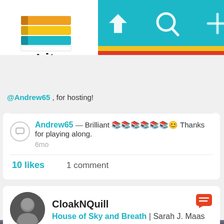[Figure (screenshot): Litsy app logo with stacked colorful books and text 'Litsy']
[Figure (screenshot): Teal navigation bar with home, search, add, activity, and profile icons]
@Andrew65 , for hosting!
Andrew65 — Brilliant 📚📚📚📚📚📚😊 Thanks for playing along. 6mo
10 likes   1 comment
CloakNQuill
House of Sky and Breath | Sarah J. Maas
[Figure (photo): Photo of a book (House of Sky and Breath by Sarah J. Maas) held in hands with grey fabric background, showing the spine/cover with 'SARAH J. MAAS' text visible]